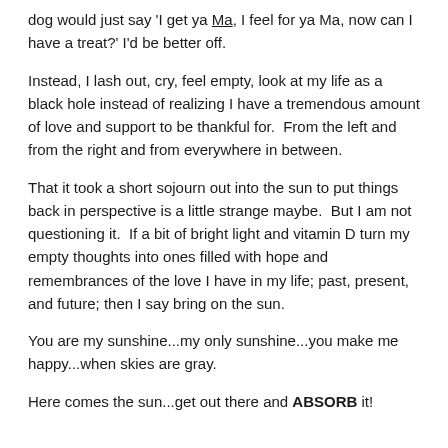dog would just say 'I get ya Ma, I feel for ya Ma, now can I have a treat?' I'd be better off.
Instead, I lash out, cry, feel empty, look at my life as a black hole instead of realizing I have a tremendous amount of love and support to be thankful for.  From the left and from the right and from everywhere in between.
That it took a short sojourn out into the sun to put things back in perspective is a little strange maybe.  But I am not questioning it.  If a bit of bright light and vitamin D turn my empty thoughts into ones filled with hope and remembrances of the love I have in my life; past, present, and future; then I say bring on the sun.
You are my sunshine...my only sunshine...you make me happy...when skies are gray.
Here comes the sun...get out there and ABSORB it!